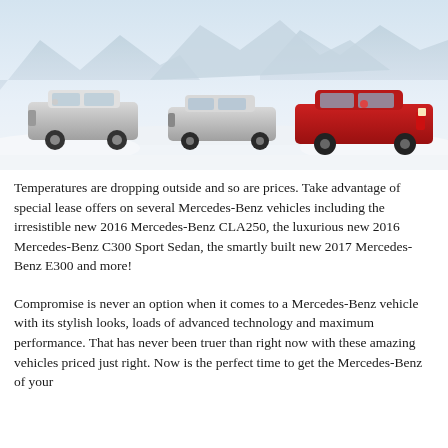[Figure (photo): Three Mercedes-Benz vehicles (two silver/white and one red) posed in a snowy winter mountain landscape. Left is an SUV/crossover, center is a sedan, right is a red sedan.]
Temperatures are dropping outside and so are prices. Take advantage of special lease offers on several Mercedes-Benz vehicles including the irresistible new 2016 Mercedes-Benz CLA250, the luxurious new 2016 Mercedes-Benz C300 Sport Sedan, the smartly built new 2017 Mercedes-Benz E300 and more!
Compromise is never an option when it comes to a Mercedes-Benz vehicle with its stylish looks, loads of advanced technology and maximum performance. That has never been truer than right now with these amazing vehicles priced just right. Now is the perfect time to get the Mercedes-Benz of your